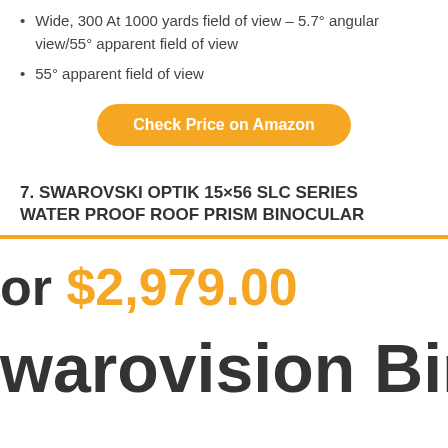Wide, 300 At 1000 yards field of view – 5.7° angular view/55° apparent field of view
55° apparent field of view
Check Price on Amazon
7. SWAROVSKI OPTIK 15×56 SLC SERIES WATER PROOF ROOF PRISM BINOCULAR
or $2,979.00
warovision Binocu